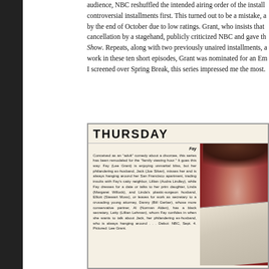audience, NBC reshuffled the intended airing order of the installments, placing the controversial installments first. This turned out to be a mistake, and the show was cancelled by the end of October due to low ratings. Grant, who insists that she first learned of the cancellation by a stagehand, publicly criticized NBC and gave the interview to The Today Show. Repeats, along with two previously unaired installments, aired later. For her work in these ten short episodes, Grant was nominated for an Emmy Award. Of all the series I screened over Spring Break, this series impressed me the most.
[Figure (photo): A newspaper TV listing clipping showing a section titled THURSDAY with a description of the TV show 'Fay' and a photo of actress Lee Grant. The text describes the show's premise about a divorcee Fay (Lee Grant) and supporting characters. Caption: Pictured: Lee Grant.]